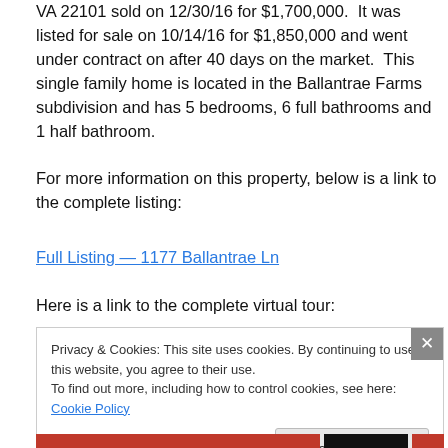VA 22101 sold on 12/30/16 for $1,700,000.  It was listed for sale on 10/14/16 for $1,850,000 and went under contract on after 40 days on the market.  This single family home is located in the Ballantrae Farms subdivision and has 5 bedrooms, 6 full bathrooms and 1 half bathroom.
For more information on this property, below is a link to the complete listing:
Full Listing — 1177 Ballantrae Ln
Here is a link to the complete virtual tour:
Privacy & Cookies: This site uses cookies. By continuing to use this website, you agree to their use.
To find out more, including how to control cookies, see here: Cookie Policy
Close and accept